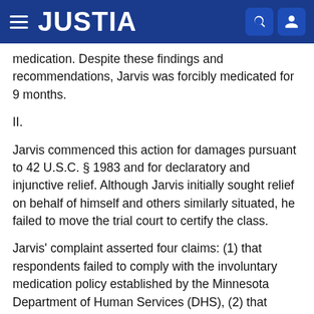JUSTIA
medication. Despite these findings and recommendations, Jarvis was forcibly medicated for 9 months.
II.
Jarvis commenced this action for damages pursuant to 42 U.S.C. § 1983 and for declaratory and injunctive relief. Although Jarvis initially sought relief on behalf of himself and others similarly situated, he failed to move the trial court to certify the class.
Jarvis' complaint asserted four claims: (1) that respondents failed to comply with the involuntary medication policy established by the Minnesota Department of Human Services (DHS), (2) that respondents' failure to follow the policy violated Jarvis' constitutionally protected rights of privacy and liberty,